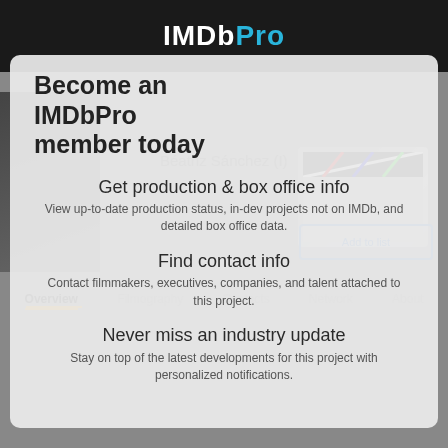[Figure (screenshot): IMDbPro website screenshot showing a modal overlay on an actor profile page. The top has a dark header with IMDbPro logo. Behind the modal is a blurred actor profile page. The modal contains promotional content about becoming an IMDbPro member.]
Become an IMDbPro member today
Get production & box office info
View up-to-date production status, in-dev projects not on IMDb, and detailed box office data.
Find contact info
Contact filmmakers, executives, companies, and talent attached to this project.
Never miss an industry update
Stay on top of the latest developments for this project with personalized notifications.